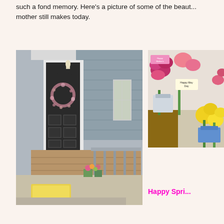such a fond memory. Here's a picture of some of the beaut... mother still makes today.
[Figure (photo): A house front porch with a dark door featuring a floral wreath, gray siding, brick base, porch railing, and small colorful flowers and a decorative mat on the steps/porch area.]
[Figure (photo): Colorful spring flower bouquets on a countertop, including pink roses, yellow flowers, with small 'Happy May Day' and 'Happy Mother's Day' signs on them.]
Happy Spri...